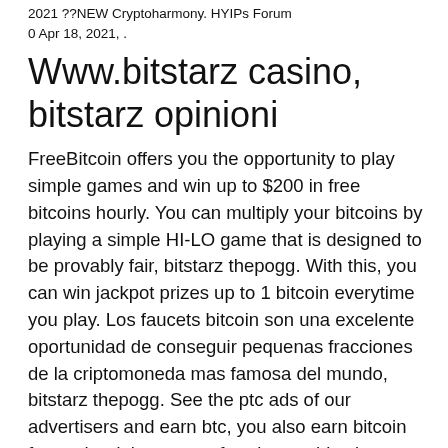2021 ??NEW Cryptoharmony. HYIPs Forum 0 Apr 18, 2021, .
Www.bitstarz casino, bitstarz opinioni
FreeBitcoin offers you the opportunity to play simple games and win up to $200 in free bitcoins hourly. You can multiply your bitcoins by playing a simple HI-LO game that is designed to be provably fair, bitstarz thepogg. With this, you can win jackpot prizes up to 1 bitcoin everytime you play. Los faucets bitcoin son una excelente oportunidad de conseguir pequenas fracciones de la criptomoneda mas famosa del mundo, bitstarz thepogg. See the ptc ads of our advertisers and earn btc, you also earn bitcoin for each ad that your referrals see, bitcoin casino bitstarz casino. Verified bitstarz online casino review based on real players reviews, including best slots, bonus